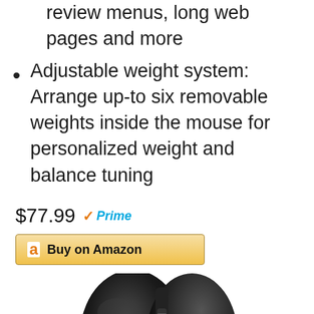review menus, long web pages and more
Adjustable weight system: Arrange up-to six removable weights inside the mouse for personalized weight and balance tuning
$77.99 Prime
[Figure (screenshot): Buy on Amazon button with Amazon logo]
[Figure (photo): Black computer gaming mouse viewed from above/side angle]